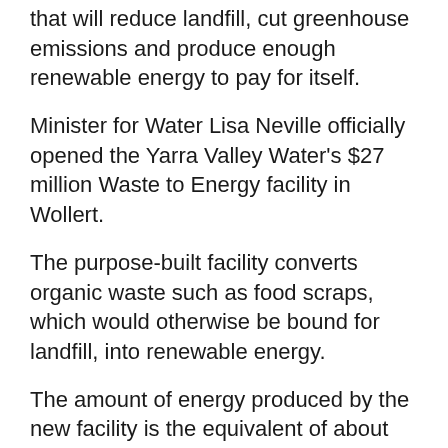that will reduce landfill, cut greenhouse emissions and produce enough renewable energy to pay for itself.
Minister for Water Lisa Neville officially opened the Yarra Valley Water's $27 million Waste to Energy facility in Wollert.
The purpose-built facility converts organic waste such as food scraps, which would otherwise be bound for landfill, into renewable energy.
The amount of energy produced by the new facility is the equivalent of about 25 per cent of Yarra Valley Water's overall energy requirements.
It's enough to power the adjacent sewage treatment plant and export surplus electricity exported to the grid as renewable energy – making the facility not just environmentally sustainable but also commercially viable.